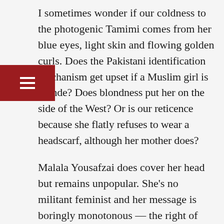I sometimes wonder if our coldness to the photogenic Tamimi comes from her blue eyes, light skin and flowing golden curls. Does the Pakistani identification mechanism get upset if a Muslim girl is blonde? Does blondness put her on the side of the West? Or is our reticence because she flatly refuses to wear a headscarf, although her mother does?
Malala Yousafzai does cover her head but remains unpopular. She's no militant feminist and her message is boringly monotonous — the right of girls to education. With thousands of girls' schools across our cities, many urbanites are not impressed. But in Swat under Taliban occupation it earned her a bullet in the head, one that the